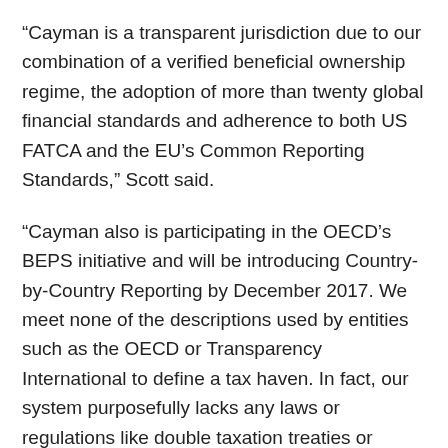“Cayman is a transparent jurisdiction due to our combination of a verified beneficial ownership regime, the adoption of more than twenty global financial standards and adherence to both US FATCA and the EU’s Common Reporting Standards,” Scott said.
“Cayman also is participating in the OECD’s BEPS initiative and will be introducing Country-by-Country Reporting by December 2017. We meet none of the descriptions used by entities such as the OECD or Transparency International to define a tax haven. In fact, our system purposefully lacks any laws or regulations like double taxation treaties or foreign incentives that support the shifting of tax base by foreign entities to avoid corporate taxes in their home jurisdictions,” he added.